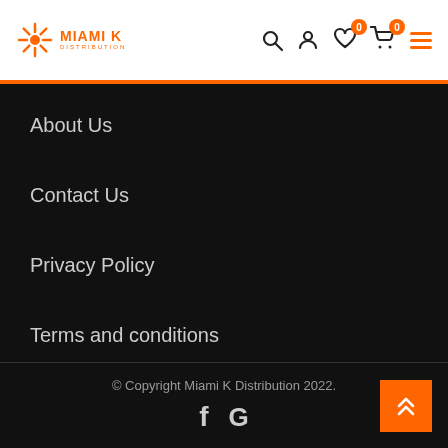Miami K Distribution — navigation header with logo, search, user, wishlist (0), cart (0), and menu icons
About Us
Contact Us
Privacy Policy
Terms and conditions
© Copyright Miami K Distribution 2022. [Facebook] [Google]